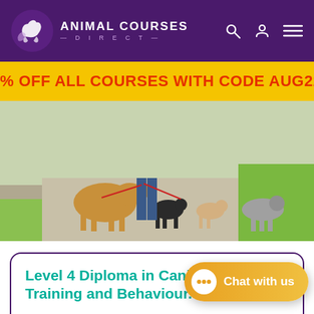ANIMAL COURSES DIRECT
% OFF ALL COURSES WITH CODE AUG22 – EN
[Figure (photo): Group of dogs of various breeds being walked on leashes along a path outdoors]
Level 4 Diploma in Canine Welfare, Training and Behaviour.
"I adopted a rescue dog from Blue Cross and I spent much of my day training her. For 20 years prior to this, I worked in Engineering and after spending so much time with her, I decided to set up my own dog walking business instead. I decided to